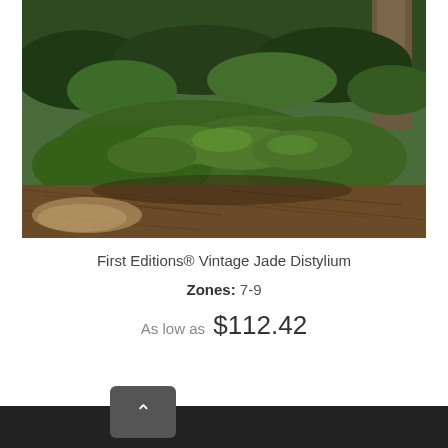[Figure (photo): Outdoor garden scene showing low-growing green shrub plants (Distylium) planted among pine straw and mulch ground cover, with larger leafy shrubs and a tree trunk visible in the background. Natural daylight setting.]
First Editions® Vintage Jade Distylium
Zones: 7-9
As low as  $112.42